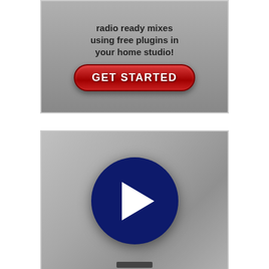[Figure (illustration): Advertisement banner with grey background showing text 'radio ready mixes using free plugins in your home studio!' and a red rounded 'GET STARTED' button]
[Figure (screenshot): Video thumbnail with blurred grey/white background showing a large dark navy blue circular play button with white triangle in center, and a small dark progress bar at the bottom]